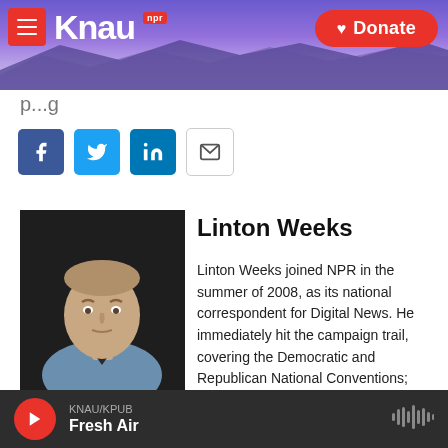[Figure (logo): KNAU NPR radio station header with mountain background, hamburger menu button, KNAU logo with NPR badge, and red Donate button]
p...g
[Figure (infographic): Social share buttons: Facebook (blue), Twitter (blue), LinkedIn (blue), Email (white/outline)]
[Figure (photo): Headshot of Linton Weeks, a middle-aged man in a light blue shirt and dark tie, against a dark background]
Linton Weeks
Linton Weeks joined NPR in the summer of 2008, as its national correspondent for Digital News. He immediately hit the campaign trail, covering the Democratic and Republican National Conventions; fact-checking the debates; and exploring the candidates, the issues and the electorate.
KNAU/KPUB
Fresh Air